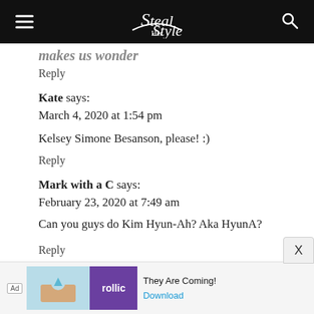Steal Her Style
makes us wonder
Reply
Kate says:
March 4, 2020 at 1:54 pm
Kelsey Simone Besanson, please! :)
Reply
Mark with a C says:
February 23, 2020 at 7:49 am
Can you guys do Kim Hyun-Ah? Aka HyunA?
Reply
Anonymous says:
[Figure (screenshot): Advertisement banner at bottom: Rollic game ad with 'They Are Coming!' text and Download button]